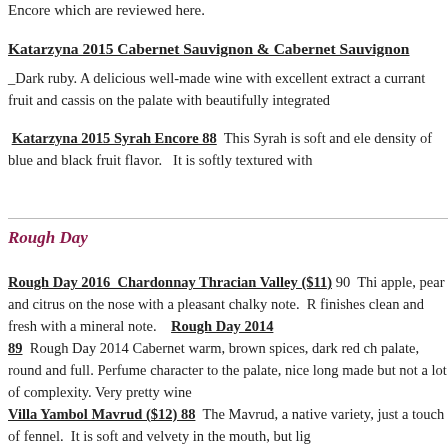Encore which are reviewed here.
Katarzyna 2015 Cabernet Sauvignon & Cabernet Sauvignon
_Dark ruby. A delicious well-made wine with excellent extract and currant fruit and cassis on the palate with beautifully integrated
Katarzyna 2015 Syrah Encore 88  This Syrah is soft and elegant with a density of blue and black fruit flavor.  It is softly textured with
Rough Day
Rough Day 2016  Chardonnay Thracian Valley ($11) 90  This wine shows apple, pear and citrus on the nose with a pleasant chalky note.  It finishes clean and fresh with a mineral note.   Rough Day 2014
89  Rough Day 2014 Cabernet warm, brown spices, dark red cherry on the palate, round and full. Perfume character to the palate, nice long, made but not a lot of complexity. Very pretty wine
Villa Yambol Mavrud ($12) 88  The Mavrud, a native variety, just a touch of fennel.  It is soft and velvety in the mouth, but lig